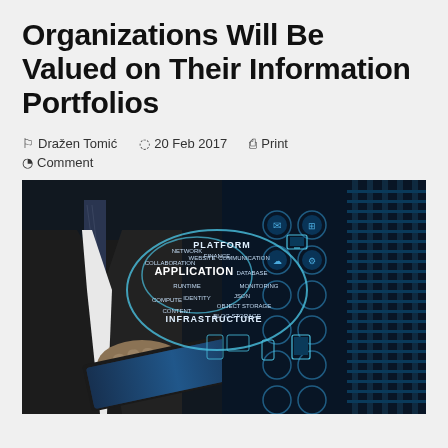Organizations Will Be Valued on Their Information Portfolios
Dražen Tomić   20 Feb 2017   Print
Comment
[Figure (photo): Business person in suit using a tablet device with a glowing cloud technology diagram overlay showing PLATFORM, APPLICATION, INFRASTRUCTURE and other tech terms, with blue digital interface elements and server room in background.]